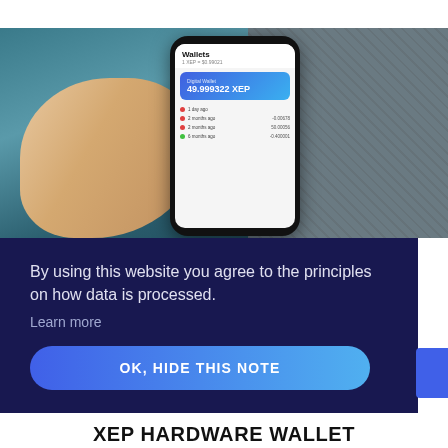[Figure (screenshot): A hand holding a smartphone displaying a cryptocurrency wallet app showing '49.999322 XEP' balance, with transaction history below]
By using this website you agree to the principles on how data is processed.
Learn more
OK, HIDE THIS NOTE
XEP HARDWARE WALLET